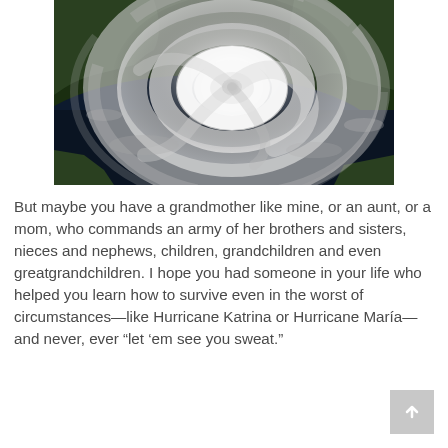[Figure (photo): Satellite image of a hurricane (likely Hurricane Katrina or a similar storm) seen from space, showing the spiral cloud bands and eye of the storm over the Gulf of Mexico with green landmasses visible around the edges.]
But maybe you have a grandmother like mine, or an aunt, or a mom, who commands an army of her brothers and sisters, nieces and nephews, children, grandchildren and even greatgrandchildren. I hope you had someone in your life who helped you learn how to survive even in the worst of circumstances—like Hurricane Katrina or Hurricane María—and never, ever “let ‘em see you sweat.”